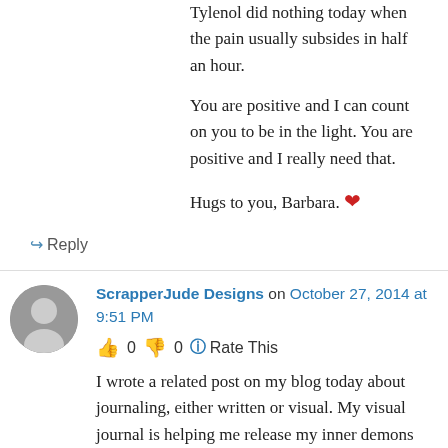Tylenol did nothing today when the pain usually subsides in half an hour.
You are positive and I can count on you to be in the light. You are positive and I really need that.
Hugs to you, Barbara. ❤
↳ Reply
ScrapperJude Designs on October 27, 2014 at 9:51 PM
👍 0 👎 0 ℹ Rate This
I wrote a related post on my blog today about journaling, either written or visual. My visual journal is helping me release my inner demons from my past. Great post Barb!